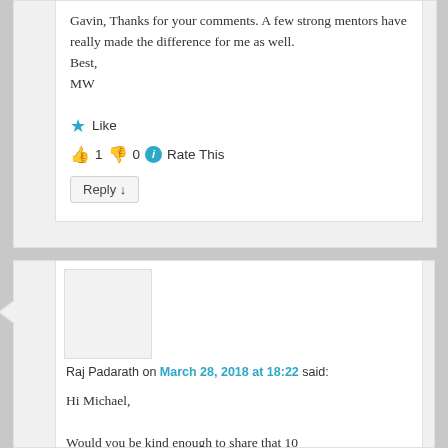Gavin, Thanks for your comments. A few strong mentors have really made the difference for me as well.
Best,
MW
★ Like
👍 1 👎 0 ℹ Rate This
Reply ↓
Raj Padarath on March 28, 2018 at 18:22 said:
Hi Michael,

Would you be kind enough to share that 10